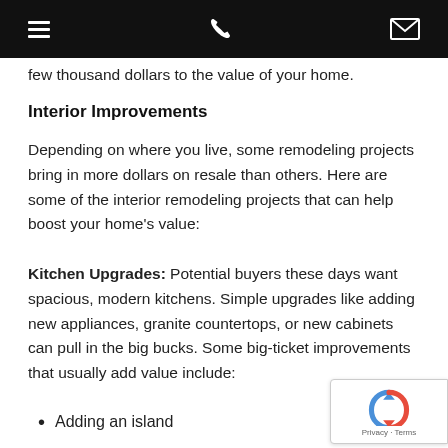[navigation bar with hamburger menu, phone icon, and email icon]
few thousand dollars to the value of your home.
Interior Improvements
Depending on where you live, some remodeling projects bring in more dollars on resale than others. Here are some of the interior remodeling projects that can help boost your home's value:
Kitchen Upgrades: Potential buyers these days want spacious, modern kitchens. Simple upgrades like adding new appliances, granite countertops, or new cabinets can pull in the big bucks. Some big-ticket improvements that usually add value include:
Adding an island